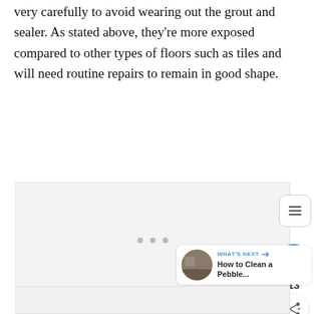very carefully to avoid wearing out the grout and sealer. As stated above, they're more exposed compared to other types of floors such as tiles and will need routine repairs to remain in good shape.
[Figure (photo): A large light gray image placeholder area with three small gray dots at the bottom center, and UI overlay elements including a table-of-contents button, a heart/like button showing 13 likes, a share button, and a 'What's Next' card showing 'How to Clean a Pebble...' with a thumbnail.]